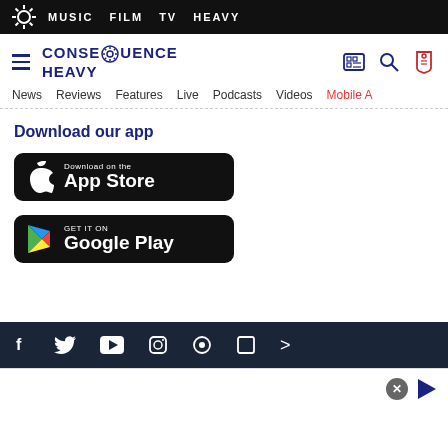MUSIC  FILM  TV  HEAVY
[Figure (logo): Consequence Heavy logo with gear/daisy icon and text CONSEQUENCE HEAVY]
News  Reviews  Features  Live  Podcasts  Videos  Mobile A
Download our app
[Figure (illustration): Download on the App Store button - black rounded rectangle with Apple logo]
[Figure (illustration): Get it on Google Play button - black rounded rectangle with Google Play logo]
Social media icons bar: Facebook, Twitter, YouTube, Instagram, and others
[Figure (illustration): Ad overlay with close X button and play arrow]